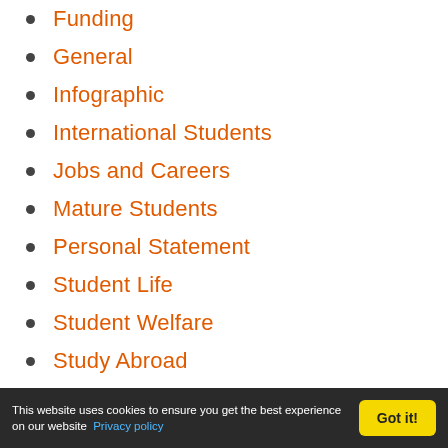Funding
General
Infographic
International Students
Jobs and Careers
Mature Students
Personal Statement
Student Life
Student Welfare
Study Abroad
Study Advice
Study In Australia
Study In Canada
This website uses cookies to ensure you get the best experience on our website  Privacy policy   Got it!